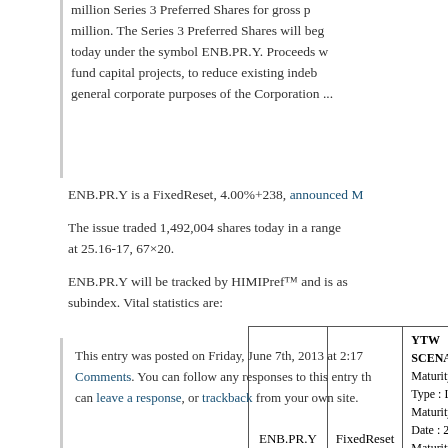million Series 3 Preferred Shares for gross p... million. The Series 3 Preferred Shares will beg... today under the symbol ENB.PR.Y. Proceeds w... fund capital projects, to reduce existing indeb... general corporate purposes of the Corporation ...
ENB.PR.Y is a FixedReset, 4.00%+238, announced M...
The issue traded 1,492,004 shares today in a range... at 25.16-17, 67×20.
ENB.PR.Y will be tracked by HIMIPref™ and is as... subindex. Vital statistics are:
|  |  | YTW SCENARIO |
| --- | --- | --- |
| ENB.PR.Y | FixedReset | Maturity Type : L
Maturity Date : 2
Maturity Price : 2
Evaluated at bid
Bid-YTW : 3.65 ... |
This entry was posted on Friday, June 7th, 2013 at 2:17 Comments. You can follow any responses to this entry th... can leave a response, or trackback from your own site.